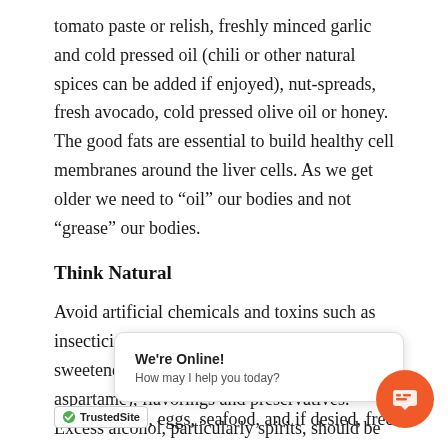tomato paste or relish, freshly minced garlic and cold pressed oil (chili or other natural spices can be added if enjoyed), nut-spreads, fresh avocado, cold pressed olive oil or honey. The good fats are essential to build healthy cell membranes around the liver cells. As we get older we need to “oil” our bodies and not “grease” our bodies.
Think Natural
Avoid artificial chemicals and toxins such as insecticides, pesticides, and artificial sweeteners and colorings, (especially aspartame), flavorings and preservatives. Excess alcohol, particularly spirits, should be avoided.
Be Diverse
Consume a diverse r... ra... nuts, ...es, eggs, seafood, and if desired, free